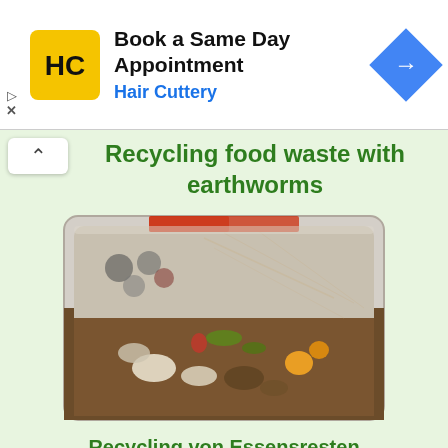[Figure (logo): Hair Cuttery advertisement banner with yellow HC logo, text 'Book a Same Day Appointment / Hair Cuttery', and blue diamond turn arrow icon]
Recycling food waste with earthworms
[Figure (photo): A white plastic bin/container filled with food waste, composting material and earthworm bedding - various food scraps including what appear to be orange pieces, eggshells, and decomposing organic matter on a soil/substrate base]
Recycling von Essensresten
Start a worm business without having